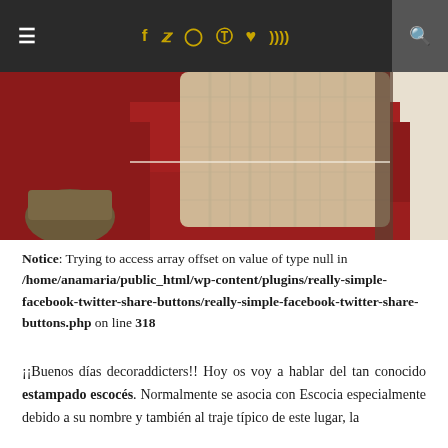☰ f t ⊙ ⊕ ♥ ))) 🔍
[Figure (photo): Photo of a red sofa with a cream/beige cable-knit blanket draped over it, with a wicker basket visible on the left side]
Notice: Trying to access array offset on value of type null in /home/anamaria/public_html/wp-content/plugins/really-simple-facebook-twitter-share-buttons/really-simple-facebook-twitter-share-buttons.php on line 318
¡¡Buenos días decoraddicters!! Hoy os voy a hablar del tan conocido estampado escocés. Normalmente se asocia con Escocia especialmente debido a su nombre y también al traje típico de este lugar, la